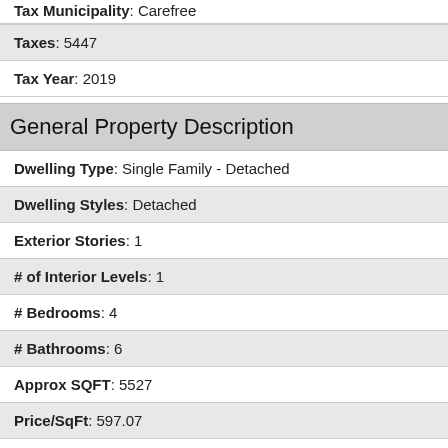Tax Municipality: Carefree
Taxes: 5447
Tax Year: 2019
General Property Description
Dwelling Type: Single Family - Detached
Dwelling Styles: Detached
Exterior Stories: 1
# of Interior Levels: 1
# Bedrooms: 4
# Bathrooms: 6
Approx SQFT: 5527
Price/SqFt: 597.07
Horses: N